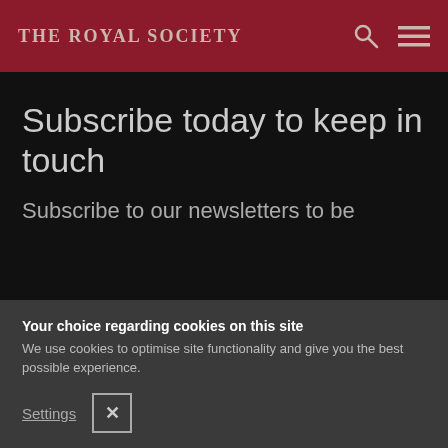THE ROYAL SOCIETY
Subscribe today to keep in touch
Subscribe to our newsletters to be
Your choice regarding cookies on this site
We use cookies to optimise site functionality and give you the best possible experience.
I Accept Cookies
I Do Not Accept Cookies
Settings